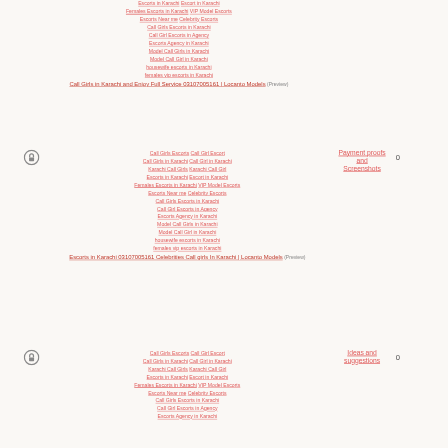Escorts in Karachi Escort in Karachi Females Escorts in Karachi VIP Model Escorts Escorts Near me Celebrity Escorts Call Girls Escorts in Karachi Call Girl Escorts in Agency Escorts Agency in Karachi Model Call Girls in Karachi Model Call Girl in Karachi housewife escorts in Karachi females vip escorts in Karachi Call Girls in Karachi and Enjoy Full Service 03107005161 | Locanto Models (Preview)
[Figure (illustration): Circular lock icon with padlock symbol]
Call Girls Escorts Call Girl Escort Call Girls in Karachi Call Girl in Karachi Karachi Call Girls Karachi Call Girl Escorts in Karachi Escort in Karachi Females Escorts in Karachi VIP Model Escorts Escorts Near me Celebrity Escorts Call Girls Escorts in Karachi Call Girl Escorts in Agency Escorts Agency in Karachi Model Call Girls in Karachi Model Call Girl in Karachi housewife escorts in Karachi females vip escorts in Karachi Escorts in Karachi 03107005161 Celebrities Call girls In Karachi | Locanto Models (Preview)
Payment proofs and Screenshots
0
[Figure (illustration): Circular lock icon with padlock symbol]
Call Girls Escorts Call Girl Escort Call Girls in Karachi Call Girl in Karachi Karachi Call Girls Karachi Call Girl Escorts in Karachi Escort in Karachi Females Escorts in Karachi VIP Model Escorts Escorts Near me Celebrity Escorts Call Girls Escorts in Karachi Call Girl Escorts in Agency Escorts Agency in Karachi
Ideas and suggestions
0